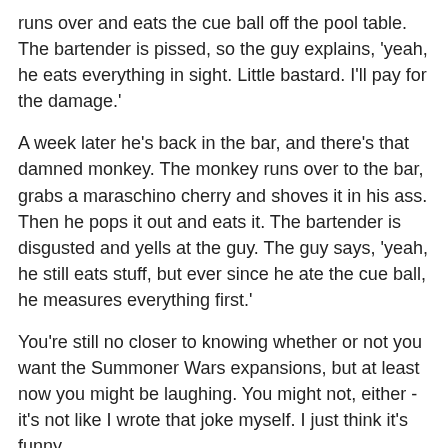runs over and eats the cue ball off the pool table. The bartender is pissed, so the guy explains, 'yeah, he eats everything in sight. Little bastard. I'll pay for the damage.'
A week later he's back in the bar, and there's that damned monkey. The monkey runs over to the bar, grabs a maraschino cherry and shoves it in his ass. Then he pops it out and eats it. The bartender is disgusted and yells at the guy. The guy says, 'yeah, he still eats stuff, but ever since he ate the cue ball, he measures everything first.'
You're still no closer to knowing whether or not you want the Summoner Wars expansions, but at least now you might be laughing. You might not, either - it's not like I wrote that joke myself. I just think it's funny.
I guess that the best course of action to let you know if you want the Summoner Wars expansions is to tell you that they're available. If you haven't played Summoner Wars, you should fix that right away. If you have and you didn't like it, don't tell me about it, because I'll just call you names. If you do like Summoner Wars, the new expansion decks are a